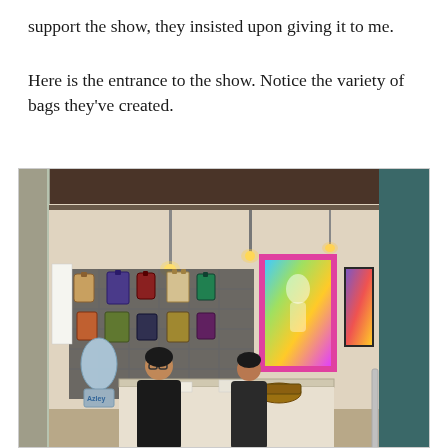support the show, they insisted upon giving it to me.
Here is the entrance to the show. Notice the variety of bags they've created.
[Figure (photo): Photo of the entrance to an art/craft show inside a retail space. A grid wall displays a variety of handmade bags hanging on it. There is a colorful poster on the right wall. Two people are seated behind a counter. A water cooler bottle is visible on the left side of the counter. The shop entrance has large glass panels.]